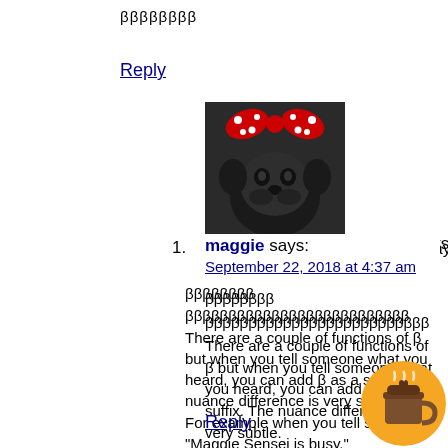ββββββββ
Reply
[Figure (photo): Avatar photo of a dog wearing a red and white polka-dot hat/bow]
1. maggie says: September 22, 2018 at 4:37 am
ββββββββ
ββββββββββββββββββββββββββ
There are a couple of functions of β but when you tell someone what you heard, you can add β as a suffix. The nuance difference is very subtle.
For example when you tell someone “Maggie Sensei is busy.”
I heard Maggie Sensei is busy.
βββββββββββββ
βββββββββββββ by just adding β, you can express “Oh well…/ that’s how it works/ We can’t do anything about it/ whatever” type of fee
Reply